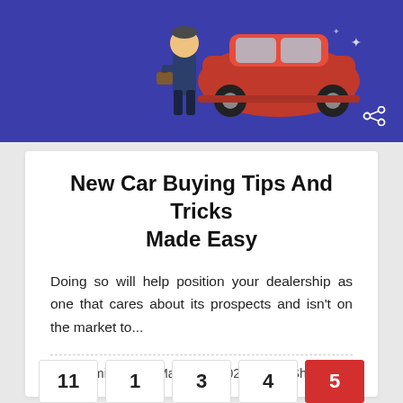[Figure (illustration): Blue banner with a cartoon illustration of a person in a mechanic or salesman outfit standing next to a red car, on a dark blue background. A share icon is visible in the bottom-right of the banner.]
New Car Buying Tips And Tricks Made Easy
Doing so will help position your dealership as one that cares about its prospects and isn't on the market to...
admin | March 11, 2022 | Shopping
[Figure (other): Pagination bar with numbered page buttons: 11, 1, 3, 4, 5 (active/red)]